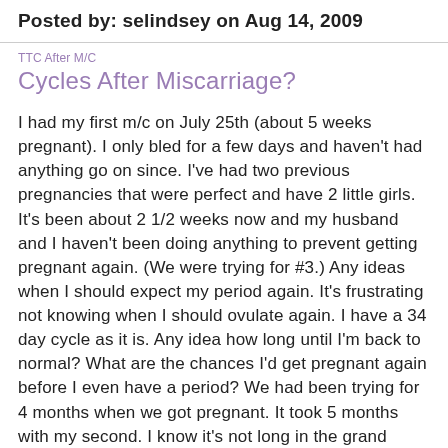Posted by: selindsey on Aug 14, 2009
TTC After M/C
Cycles After Miscarriage?
I had my first m/c on July 25th (about 5 weeks pregnant). I only bled for a few days and haven't had anything go on since. I've had two previous pregnancies that were perfect and have 2 little girls. It's been about 2 1/2 weeks now and my husband and I haven't been doing anything to prevent getting pregnant again. (We were trying for #3.) Any ideas when I should expect my period again. It's frustrating not knowing when I should ovulate again. I have a 34 day cycle as it is. Any idea how long until I'm back to normal? What are the chances I'd get pregnant again before I even have a period? We had been trying for 4 months when we got pregnant. It took 5 months with my second. I know it's not long in the grand scheme of things but it is still frustrating. Thanks!